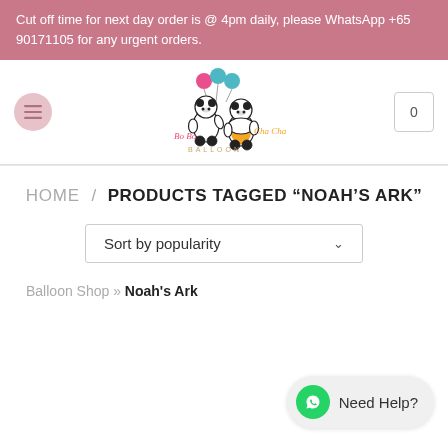Cut off time for next day order is @ 4pm daily, please WhatsApp +65 90171105 for any urgent orders.
[Figure (logo): Bo Bo Cha Cha Balloon logo with two panda characters holding colorful balloons]
HOME / PRODUCTS TAGGED “NOAH’S ARK”
Sort by popularity
Balloon Shop » Noah's Ark
Need Help?